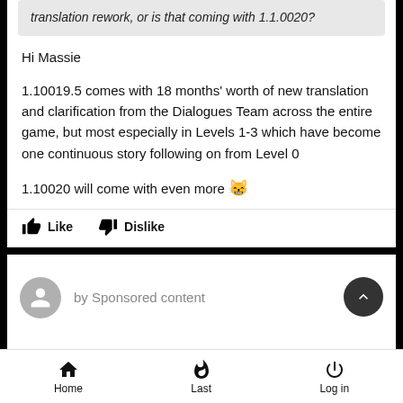translation rework, or is that coming with 1.1.0020?
Hi Massie
1.10019.5 comes with 18 months' worth of new translation and clarification from the Dialogues Team across the entire game, but most especially in Levels 1-3 which have become one continuous story following on from Level 0
1.10020 will come with even more 😸
Like   Dislike
by Sponsored content
You May Like
Home   Last   Log in